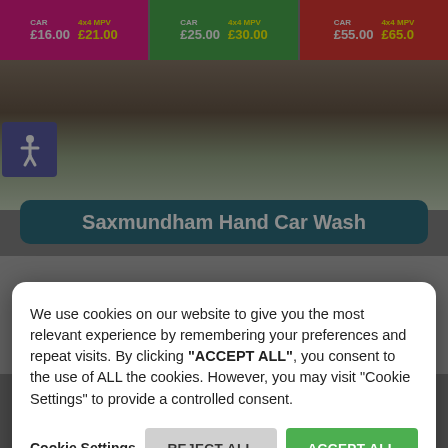[Figure (screenshot): Car wash price banner showing three price tiers: pink section CAR £16.00 4x4 MPV £21.00; green section CAR £25.00 4x4 MPV £30.00; red section CAR £55.00 4x4 MPV £65.00]
[Figure (photo): Photo of Saxmundham Hand Car Wash exterior with accessibility icon badge]
Saxmundham Hand Car Wash
We use cookies on our website to give you the most relevant experience by remembering your preferences and repeat visits. By clicking "ACCEPT ALL", you consent to the use of ALL the cookies. However, you may visit "Cookie Settings" to provide a controlled consent.
Cookie Settings
REJECT ALL
ACCEPT ALL
[Figure (screenshot): Partial logo showing large black letters 'VLO' (part of Sax Velo logo)]
Sax Velo